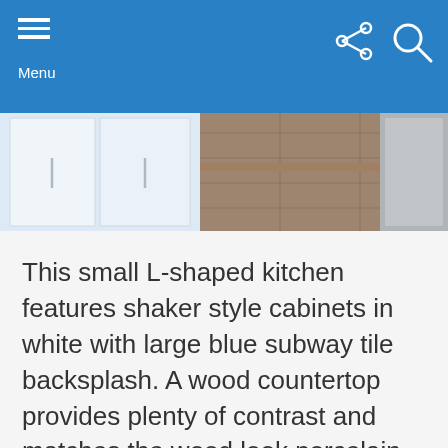Menu
[Figure (photo): Partial view of a small L-shaped kitchen showing white shaker cabinets, wood look porcelain tile flooring, and a wood countertop with a stainless steel appliance visible in the background.]
This small L-shaped kitchen features shaker style cabinets in white with large blue subway tile backsplash. A wood countertop provides plenty of contrast and matches the wood look porcelain tile flooring.